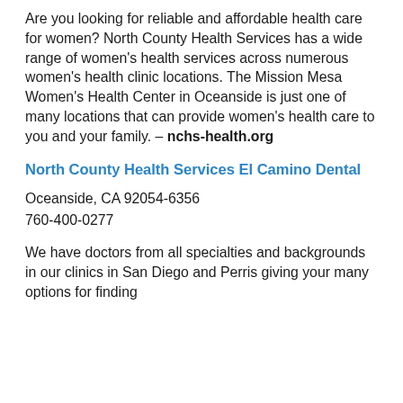Are you looking for reliable and affordable health care for women? North County Health Services has a wide range of women's health services across numerous women's health clinic locations. The Mission Mesa Women's Health Center in Oceanside is just one of many locations that can provide women's health care to you and your family. – nchs-health.org
North County Health Services El Camino Dental
Oceanside, CA 92054-6356
760-400-0277
We have doctors from all specialties and backgrounds in our clinics in San Diego and Perris giving your many options for finding